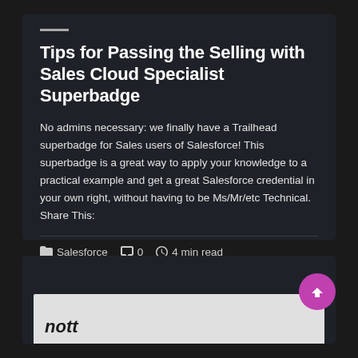Tips for Passing the Selling with Sales Cloud Specialist Superbadge
No admins necessary: we finally have a Trailhead superbadge for Sales users of Salesforce! This superbadge is a great way to apply your knowledge to a practical example and get a great Salesforce credential in your own right, without having to be Ms/Mr/etc Technical. Share This:
Salesforce  0  4 min read
[Figure (screenshot): Partial image at bottom of page showing white background with partial text 'nott' in dark italic font, partially cropped]